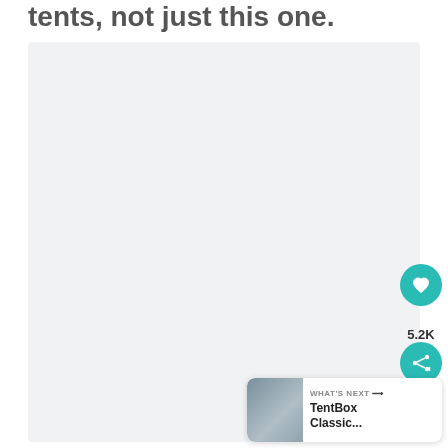tents, not just this one.
[Figure (photo): Large light gray placeholder image area representing a photo content block in a web article]
5.2K
WHAT'S NEXT → TentBox Classic...